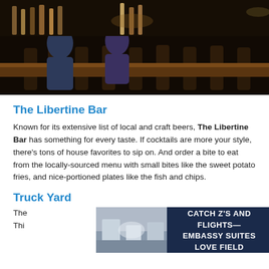[Figure (photo): Interior bar scene with patrons seated at a dark wooden bar counter, dark ambiance]
The Libertine Bar
Known for its extensive list of local and craft beers, The Libertine Bar has something for every taste. If cocktails are more your style, there's tons of house favorites to sip on. And order a bite to eat from the locally-sourced menu with small bites like the sweet potato fries, and nice-portioned plates like the fish and chips.
Truck Yard
The
[Figure (photo): Embassy Suites Love Field hotel interior lobby photo with advertisement overlay reading CATCH Z'S AND FLIGHTS— EMBASSY SUITES LOVE FIELD]